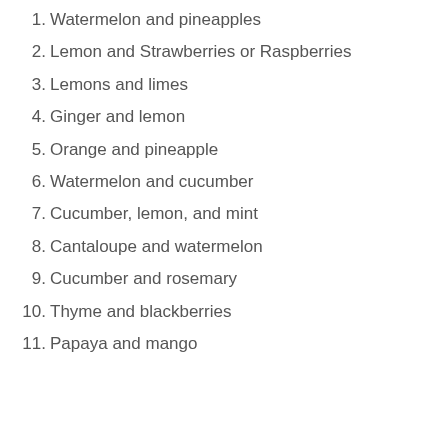1. Watermelon and pineapples
2. Lemon and Strawberries or Raspberries
3. Lemons and limes
4. Ginger and lemon
5. Orange and pineapple
6. Watermelon and cucumber
7. Cucumber, lemon, and mint
8. Cantaloupe and watermelon
9. Cucumber and rosemary
10. Thyme and blackberries
11. Papaya and mango